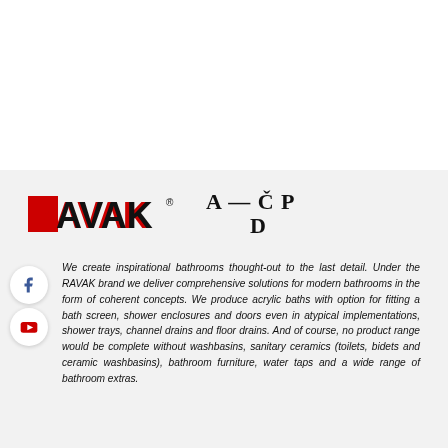[Figure (logo): RAVAK brand logo in red with a stylized letter R, followed by A-ČP D text in serif font]
We create inspirational bathrooms thought-out to the last detail. Under the RAVAK brand we deliver comprehensive solutions for modern bathrooms in the form of coherent concepts. We produce acrylic baths with option for fitting a bath screen, shower enclosures and doors even in atypical implementations, shower trays, channel drains and floor drains. And of course, no product range would be complete without washbasins, sanitary ceramics (toilets, bidets and ceramic washbasins), bathroom furniture, water taps and a wide range of bathroom extras.